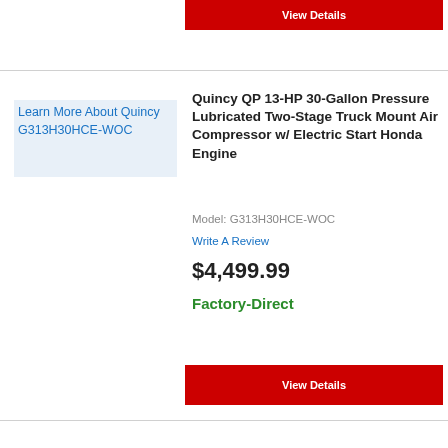[Figure (screenshot): Red 'View Details' button at the top of the page]
[Figure (illustration): Product image placeholder for Quincy G313H30HCE-WOC showing alt text 'Learn More About Quincy G313H30HCE-WOC']
Quincy QP 13-HP 30-Gallon Pressure Lubricated Two-Stage Truck Mount Air Compressor w/ Electric Start Honda Engine
Model: G313H30HCE-WOC
Write A Review
$4,499.99
Factory-Direct
[Figure (screenshot): Red 'View Details' button at the bottom of the product listing]